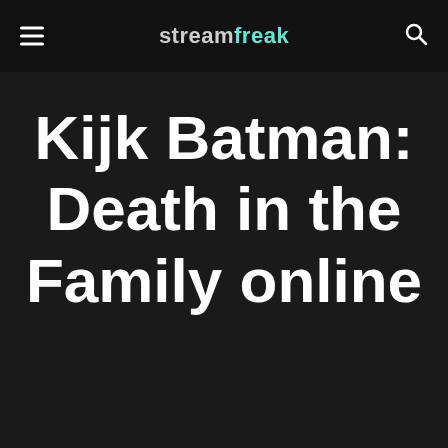streamfreak
Kijk Batman: Death in the Family online